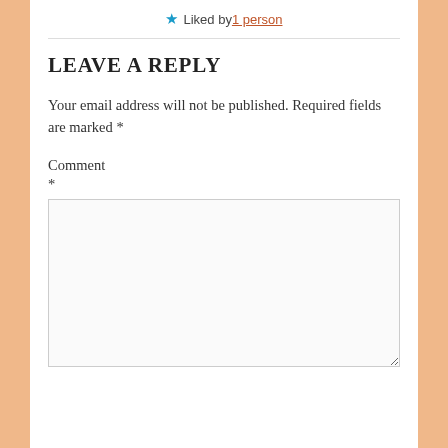Liked by 1 person
LEAVE A REPLY
Your email address will not be published. Required fields are marked *
Comment *